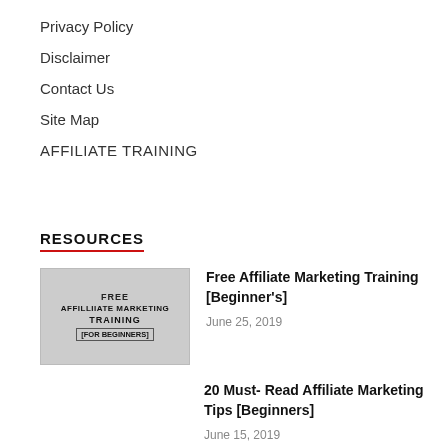Privacy Policy
Disclaimer
Contact Us
Site Map
AFFILIATE TRAINING
RESOURCES
[Figure (photo): Thumbnail image for Free Affiliate Marketing Training article, showing text: FREE AFFILIATE MARKETING TRAINING [FOR BEGINNERS]]
Free Affiliate Marketing Training [Beginner's]
June 25, 2019
20 Must- Read Affiliate Marketing Tips [Beginners]
June 15, 2019